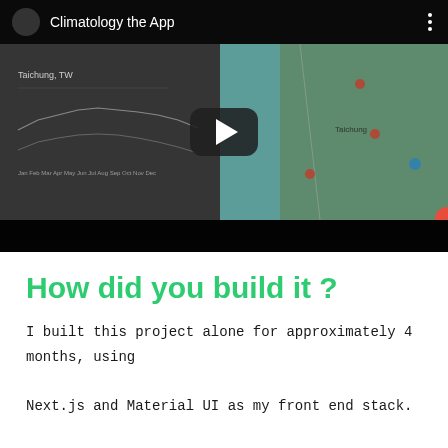[Figure (screenshot): YouTube video embed thumbnail showing 'Climatology the App' with a play button overlay. Left half shows a dark app screenshot with a chart and 'Taichung, TW' text. Right half shows a Google Maps view of Taiwan. Black title bar at top and bottom.]
How did you build it ?
I built this project alone for approximately 4 months, using Next.js and Material UI as my front end stack.
A good part of the day was spent on watching YouTube tutorials